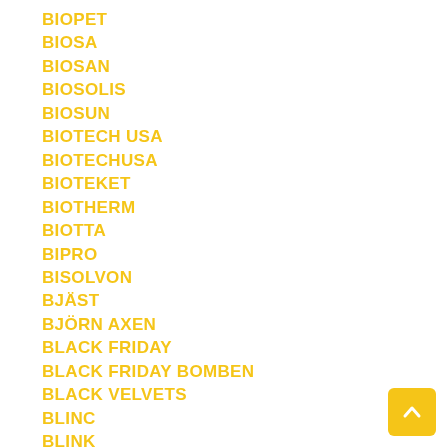BIOPET
BIOSA
BIOSAN
BIOSOLIS
BIOSUN
BIOTECH USA
BIOTECHUSA
BIOTEKET
BIOTHERM
BIOTTA
BIPRO
BISOLVON
BJÄST
BJÖRN AXEN
BLACK FRIDAY
BLACK FRIDAY BOMBEN
BLACK VELVETS
BLINC
BLINK
BLOMDAHL
BLUEIRON
BODY & SOUL
BODYLAB